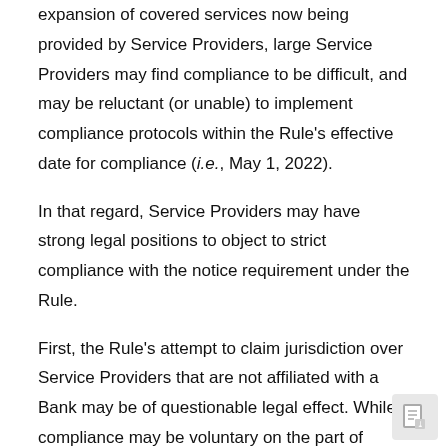expansion of covered services now being provided by Service Providers, large Service Providers may find compliance to be difficult, and may be reluctant (or unable) to implement compliance protocols within the Rule's effective date for compliance (i.e., May 1, 2022).
In that regard, Service Providers may have strong legal positions to object to strict compliance with the notice requirement under the Rule.
First, the Rule's attempt to claim jurisdiction over Service Providers that are not affiliated with a Bank may be of questionable legal effect. While compliance may be voluntary on the part of Service Providers, strict compliance may not be legally enforceable by the Prudential Regulators.
Second, Service Providers objecting to coverage under the Rule may elect to rely upon existing service